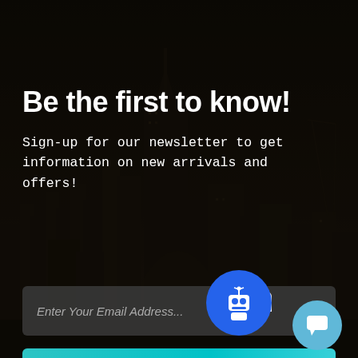[Figure (illustration): Dark cityscape background with skyscrapers at night, overlaid with a semi-transparent dark overlay]
Be the first to know!
Sign-up for our newsletter to get information on new arrivals and offers!
Enter Your Email Address...
Subscribe!
Conta
[Figure (illustration): Blue circle with robot/chatbot icon]
[Figure (illustration): Light blue circle with chat/message bubble icon]